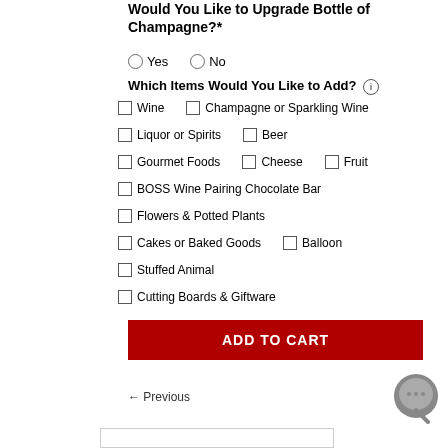Would You Like to Upgrade Bottle of Champagne?*
Yes   No
Which Items Would You Like to Add? (i)
Wine   Champagne or Sparkling Wine
Liquor or Spirits   Beer
Gourmet Foods   Cheese   Fruit
BOSS Wine Pairing Chocolate Bar
Flowers & Potted Plants
Cakes or Baked Goods   Balloon
Stuffed Animal
Cutting Boards & Giftware
ADD TO CART
← Previous